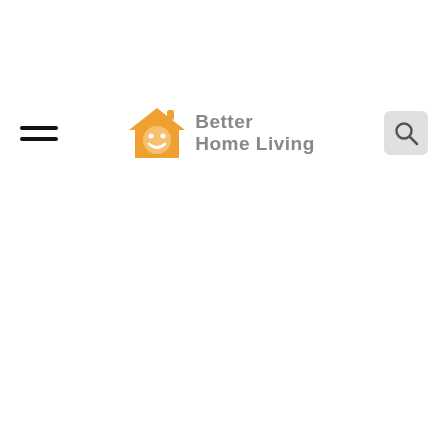[Figure (logo): Better Home Living logo: orange house icon with smiley face, next to text 'Better Home Living' in grey, hamburger menu icon on the left, and search icon on the right]